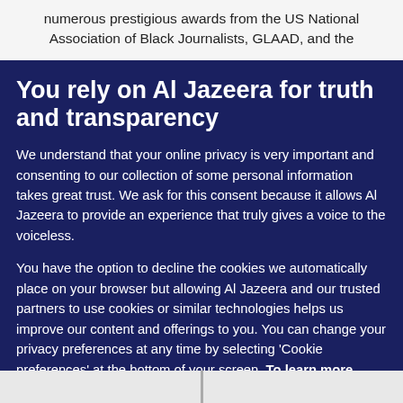numerous prestigious awards from the US National Association of Black Journalists, GLAAD, and the
You rely on Al Jazeera for truth and transparency
We understand that your online privacy is very important and consenting to our collection of some personal information takes great trust. We ask for this consent because it allows Al Jazeera to provide an experience that truly gives a voice to the voiceless.
You have the option to decline the cookies we automatically place on your browser but allowing Al Jazeera and our trusted partners to use cookies or similar technologies helps us improve our content and offerings to you. You can change your privacy preferences at any time by selecting 'Cookie preferences' at the bottom of your screen. To learn more, please view our Cookie Policy.